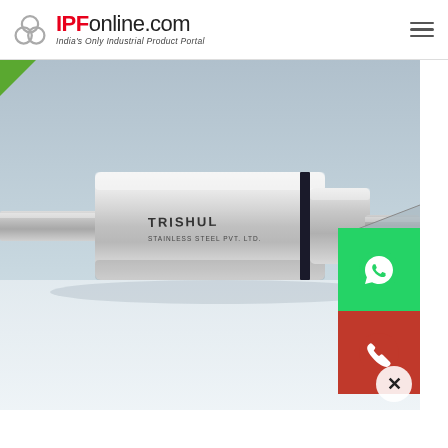IPFonline.com — India's Only Industrial Product Portal
[Figure (photo): Close-up photograph of a stainless steel industrial fitting/coupling component branded 'TRISHUL' with a cylindrical body, a circular groove/ring, a small port hole, and a rod extending to the right. The component is placed on a white surface.]